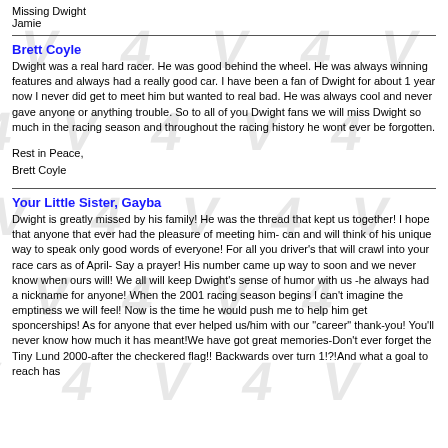Missing Dwight
Jamie
Brett Coyle
Dwight was a real hard racer. He was good behind the wheel. He was always winning features and always had a really good car. I have been a fan of Dwight for about 1 year now I never did get to meet him but wanted to real bad. He was always cool and never gave anyone or anything trouble. So to all of you Dwight fans we will miss Dwight so much in the racing season and throughout the racing history he wont ever be forgotten.
Rest in Peace,
Brett Coyle
Your Little Sister, Gayba
Dwight is greatly missed by his family! He was the thread that kept us together! I hope that anyone that ever had the pleasure of meeting him- can and will think of his unique way to speak only good words of everyone! For all you driver's that will crawl into your race cars as of April- Say a prayer! His number came up way to soon and we never know when ours will! We all will keep Dwight's sense of humor with us -he always had a nickname for anyone! When the 2001 racing season begins I can't imagine the emptiness we will feel! Now is the time he would push me to help him get sponcerships! As for anyone that ever helped us/him with our "career" thank-you! You'll never know how much it has meant!We have got great memories-Don't ever forget the Tiny Lund 2000-after the checkered flag!! Backwards over turn 1!?!And what a goal to reach has